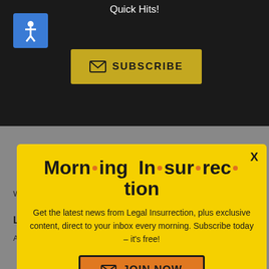Quick Hits!
[Figure (screenshot): Subscribe button with envelope icon on dark background]
[Figure (infographic): Morning Insurrection newsletter signup modal popup on yellow background with close X button, body text, and JOIN NOW orange button]
Weekend Editor
Higher Ed
Leslie Eastman
Author
Vijeta Uniyal
Author